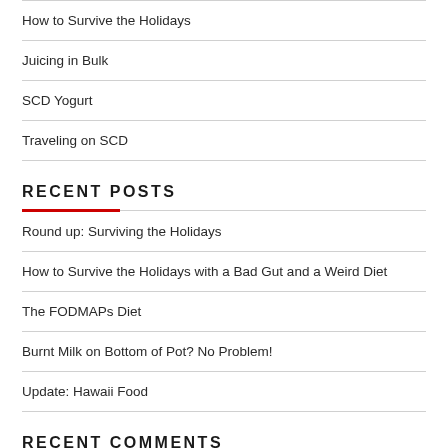How to Survive the Holidays
Juicing in Bulk
SCD Yogurt
Traveling on SCD
RECENT POSTS
Round up: Surviving the Holidays
How to Survive the Holidays with a Bad Gut and a Weird Diet
The FODMAPs Diet
Burnt Milk on Bottom of Pot? No Problem!
Update: Hawaii Food
RECENT COMMENTS
Rishikeh Escort on Management of Celiac Disease